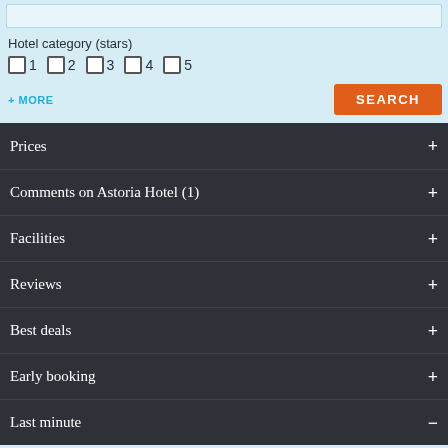[Figure (screenshot): Top input bar (search field, partially visible)]
Hotel category (stars)
1
2
3
4
5
+ MORE
SEARCH
Prices
Comments on Astoria Hotel  (1)
Facilities
Reviews
Best deals
Early booking
Last minute